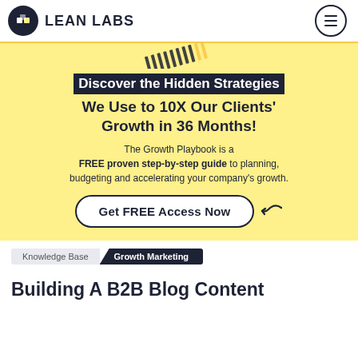LEAN LABS
[Figure (infographic): Yellow promo band with diagonal decorative stripes, headline with dark background highlight, subtext, and CTA button]
Discover the Hidden Strategies We Use to 10X Our Clients' Growth in 36 Months! The Growth Playbook is a FREE proven step-by-step guide to planning, budgeting and accelerating your company's growth. Get FREE Access Now
Knowledge Base  Growth Marketing
Building A B2B Blog Content